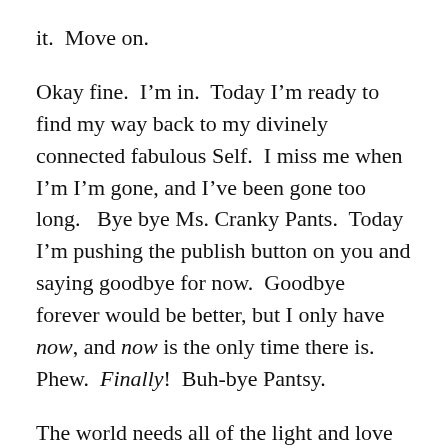it.  Move on.
Okay fine.  I'm in.  Today I'm ready to find my way back to my divinely connected fabulous Self.  I miss me when I'm I'm gone, and I've been gone too long.   Bye bye Ms. Cranky Pants.  Today I'm pushing the publish button on you and saying goodbye for now.  Goodbye forever would be better, but I only have now, and now is the only time there is.  Phew.  Finally!  Buh-bye Pantsy.
The world needs all of the light and love that it can get.  Please make a choice for good will and bake a little light into the collective consciousness to help tip the balance from fear